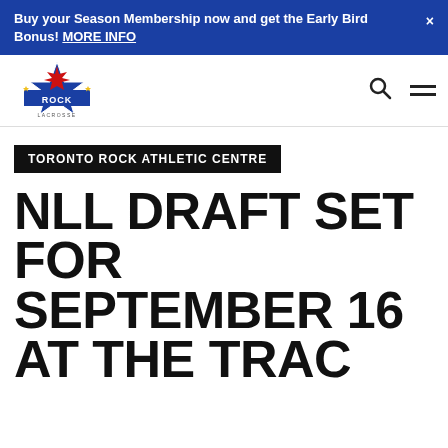Buy your Season Membership now and get the Early Bird Bonus! MORE INFO
[Figure (logo): Toronto Rock Lacrosse team logo with red maple leaf and blue star]
TORONTO ROCK ATHLETIC CENTRE
NLL DRAFT SET FOR SEPTEMBER 16 AT THE TRAC